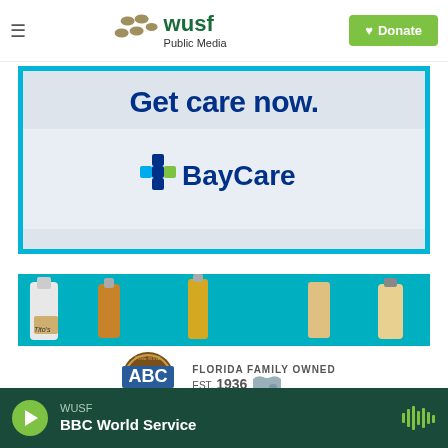WUSF Public Media — Donate
[Figure (screenshot): BayCare health system advertisement with teal border, text 'Get care now.' in dark blue and BayCare logo with blue cross symbol]
[Figure (screenshot): ABC Fine Wine & Spirits advertisement showing liquor bottles (Tito's vodka, whisky bottles) on teal background, ABC logo with 'FINE WINE & SPIRITS', 'FLORIDA FAMILY OWNED EST. 1936', and text 'CELEBRATING']
WUSF — BBC World Service (player bar)